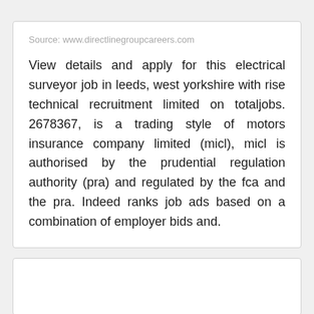Source: www.directlinegroupcareers.com
View details and apply for this electrical surveyor job in leeds, west yorkshire with rise technical recruitment limited on totaljobs. 2678367, is a trading style of motors insurance company limited (micl), micl is authorised by the prudential regulation authority (pra) and regulated by the fca and the pra. Indeed ranks job ads based on a combination of employer bids and.